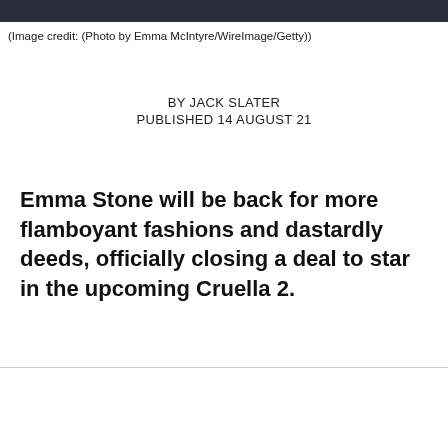[Figure (photo): Partial photo strip at top of page showing people in dark clothing]
(Image credit: (Photo by Emma McIntyre/WireImage/Getty))
BY JACK SLATER
PUBLISHED 14 AUGUST 21
Emma Stone will be back for more flamboyant fashions and dastardly deeds, officially closing a deal to star in the upcoming Cruella 2.